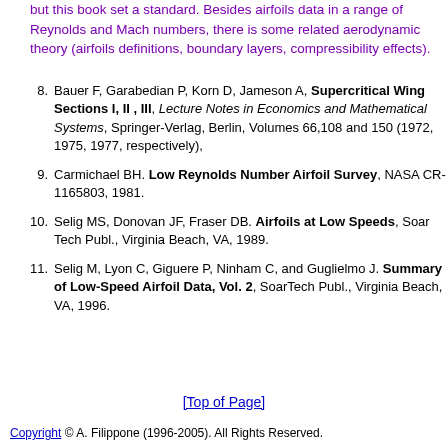but this book set a standard. Besides airfoils data in a range of Reynolds and Mach numbers, there is some related aerodynamic theory (airfoils definitions, boundary layers, compressibility effects).
8. Bauer F, Garabedian P, Korn D, Jameson A, Supercritical Wing Sections I, II , III, Lecture Notes in Economics and Mathematical Systems, Springer-Verlag, Berlin, Volumes 66,108 and 150 (1972, 1975, 1977, respectively),
9. Carmichael BH. Low Reynolds Number Airfoil Survey, NASA CR-1165803, 1981.
10. Selig MS, Donovan JF, Fraser DB. Airfoils at Low Speeds, Soar Tech Publ., Virginia Beach, VA, 1989.
11. Selig M, Lyon C, Giguere P, Ninham C, and Guglielmo J. Summary of Low-Speed Airfoil Data, Vol. 2, SoarTech Publ., Virginia Beach, VA, 1996.
[Top of Page]
Copyright © A. Filippone (1996-2005). All Rights Reserved.